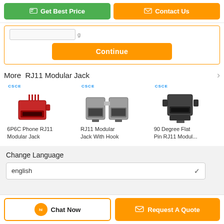[Figure (screenshot): Top navigation bar with 'Get Best Price' green button and 'Contact Us' orange button]
[Figure (screenshot): Continue button area inside orange-bordered section]
More  RJ11 Modular Jack
[Figure (photo): 6P6C Phone RJ11 Modular Jack product image - red connector]
6P6C Phone RJ11 Modular Jack
[Figure (photo): RJ11 Modular Jack With Hook product image - gray connector]
RJ11 Modular Jack With Hook
[Figure (photo): 90 Degree Flat Pin RJ11 Modular Jack product image - black connector]
90 Degree Flat Pin RJ11 Modul...
Change Language
english
[Figure (screenshot): Bottom bar with Chat Now and Request A Quote buttons]